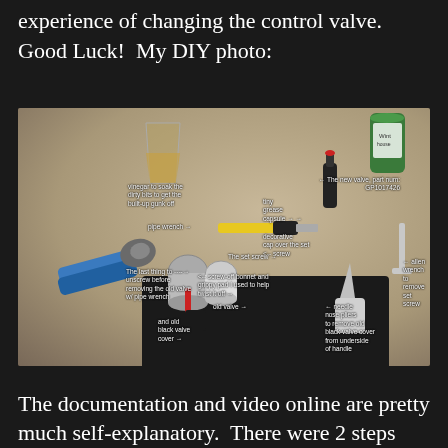experience of changing the control valve. Good Luck! My DIY photo:
[Figure (photo): DIY photo showing tools and parts laid out on a countertop for changing a control valve: pipe wrench (blue handles), vinegar in a glass, tiny grease capsule, decorative cap, set screw, screw-off bonnet, old valve, old black valve cover, needle nose pliers, allen wrench, and new valve part num GP1017426, all annotated with white text labels.]
The documentation and video online are pretty much self-explanatory. There were 2 steps